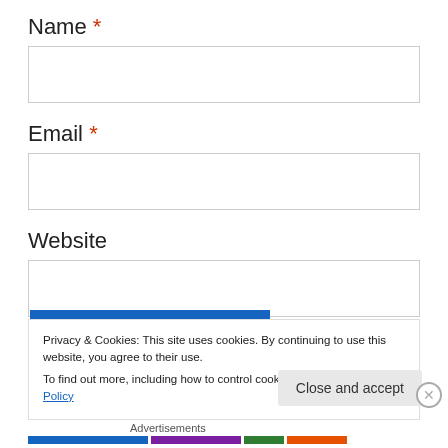Name *
Email *
Website
Privacy & Cookies: This site uses cookies. By continuing to use this website, you agree to their use.
To find out more, including how to control cookies, see here: Cookie Policy
Close and accept
Advertisements